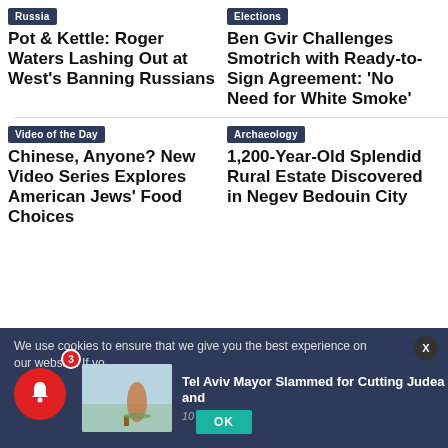Russia
Pot & Kettle: Roger Waters Lashing Out at West's Banning Russians
Elections
Ben Gvir Challenges Smotrich with Ready-to-Sign Agreement: 'No Need for White Smoke'
Video of the Day
Chinese, Anyone? New Video Series Explores American Jews' Food Choices
Archaeology
1,200-Year-Old Splendid Rural Estate Discovered in Negev Bedouin City
We use cookies to ensure that we give you the best experience on our website. If yo
Tel Aviv Mayor Slammed for Cutting Judea and
10 hours ago